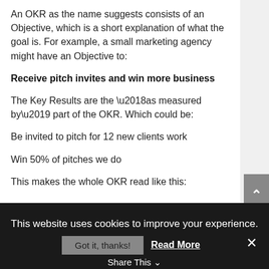An OKR as the name suggests consists of an Objective, which is a short explanation of what the goal is. For example, a small marketing agency might have an Objective to:
Receive pitch invites and win more business
The Key Results are the ‘as measured by’ part of the OKR. Which could be:
Be invited to pitch for 12 new clients work
Win 50% of pitches we do
This makes the whole OKR read like this:
This website uses cookies to improve your experience.
Got it, thanks!
Read More
Share This